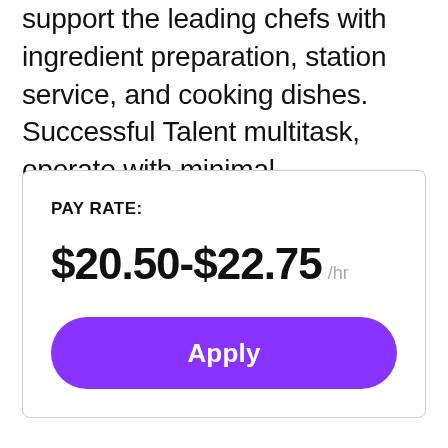support the leading chefs with ingredient preparation, station service, and cooking dishes. Successful Talent multitask, operate with minimal supervision, and carefully follow directions for food service.
PAY RATE: $20.50-$22.75 /hr
Apply